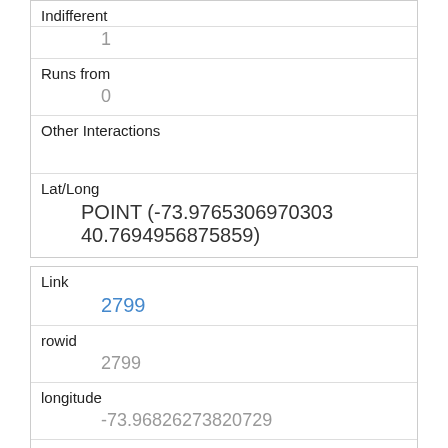| Field | Value |
| --- | --- |
| Indifferent | 1 |
| Runs from | 0 |
| Other Interactions |  |
| Lat/Long | POINT (-73.9765306970303 40.7694956875859) |
| Field | Value |
| --- | --- |
| Link | 2799 |
| rowid | 2799 |
| longitude | -73.96826273820729 |
| latitude | 40.773076674345205 |
| Unique Squirrel ID | 11H-AM-1010-09 |
| Hectare | 11H |